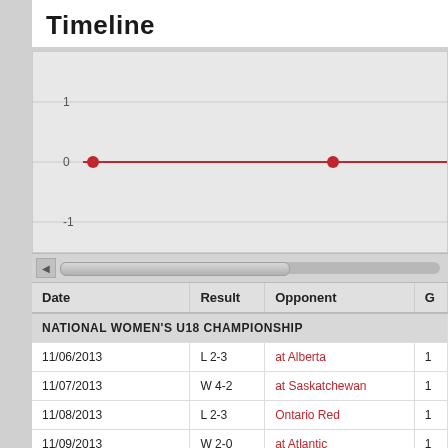Timeline
[Figure (line-chart): A timeline/line chart showing game score differentials over time. Y-axis shows values 1, 0, -1. A red horizontal line runs across at y=0 with two circular markers (dots) on it.]
| Date | Result | Opponent | G |
| --- | --- | --- | --- |
| NATIONAL WOMEN'S U18 CHAMPIONSHIP |  |  |  |
| 11/06/2013 | L 2-3 | at Alberta | 1 |
| 11/07/2013 | W 4-2 | at Saskatchewan | 1 |
| 11/08/2013 | L 2-3 | Ontario Red | 1 |
| 11/09/2013 | W 2-0 | at Atlantic | 1 |
| National Women's U18 Championship Totals |  |  | 4 |
| 2013 Totals |  |  | 4 |